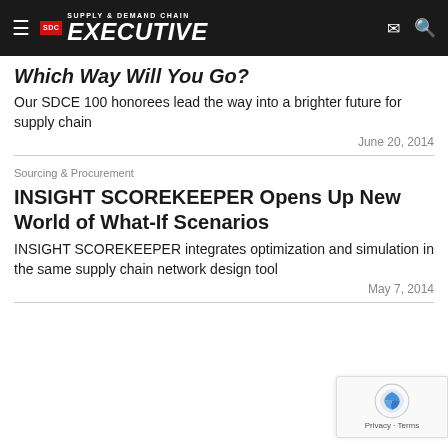Supply & Demand Chain Executive
Which Way Will You Go?
Our SDCE 100 honorees lead the way into a brighter future for supply chain
June 20, 2014
Sourcing & Procurement
INSIGHT SCOREKEEPER Opens Up New World of What-If Scenarios
INSIGHT SCOREKEEPER integrates optimization and simulation in the same supply chain network design tool
May 7, 2014